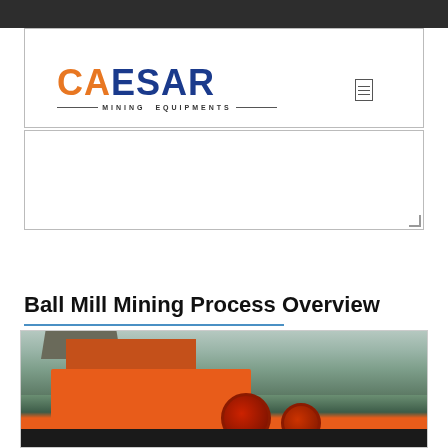[Figure (logo): CAESAR Mining Equipments logo with orange and blue lettering]
SUBMIT NOW
Ball Mill Mining Process Overview
[Figure (photo): Outdoor photo of orange mining/crushing equipment (jaw crusher or ball mill) with green hillside background]